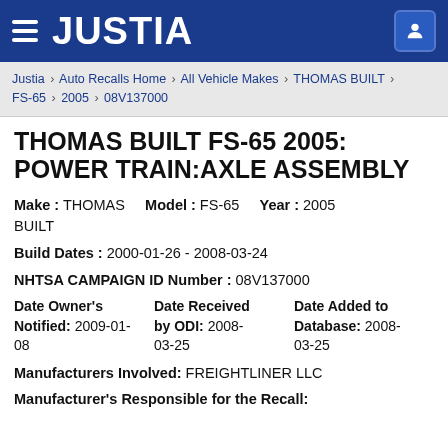JUSTIA
Justia › Auto Recalls Home › All Vehicle Makes › THOMAS BUILT › FS-65 › 2005 › 08V137000
THOMAS BUILT FS-65 2005: POWER TRAIN:AXLE ASSEMBLY
Make : THOMAS BUILT   Model : FS-65   Year : 2005
Build Dates : 2000-01-26 - 2008-03-24
NHTSA CAMPAIGN ID Number : 08V137000
Date Owner's Notified: 2009-01-08   Date Received by ODI: 2008-03-25   Date Added to Database: 2008-03-25
Manufacturers Involved: FREIGHTLINER LLC
Manufacturer's Responsible for the Recall: